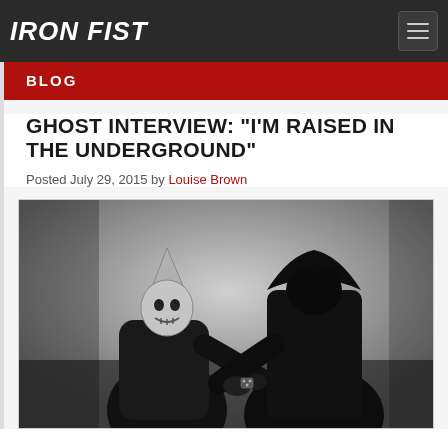IRON FIST
BLOG
GHOST INTERVIEW: "I'M RAISED IN THE UNDERGROUND"
Posted July 29, 2015 by Louise Brown
[Figure (photo): Black and white photo of two masked figures in dark robes facing each other, one wearing a bishop-style mitre mask with skull face, the other in a hooded black figure costume. They appear to be exchanging something between them.]